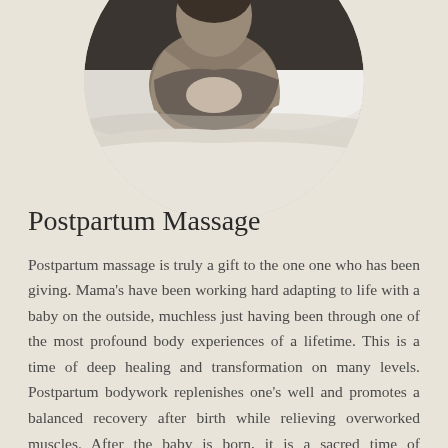[Figure (photo): Black and white circular photo of a woman with a newborn baby, resting in bed with white linens]
Postpartum Massage
Postpartum massage is truly a gift to the one one who has been giving. Mama's have been working hard adapting to life with a baby on the outside, muchless just having been through one of the most profound body experiences of a lifetime. This is a time of deep healing and transformation on many levels. Postpartum bodywork replenishes one's well and promotes a balanced recovery after birth while relieving overworked muscles. After the baby is born, it is a sacred time of integrating many changes, and it's